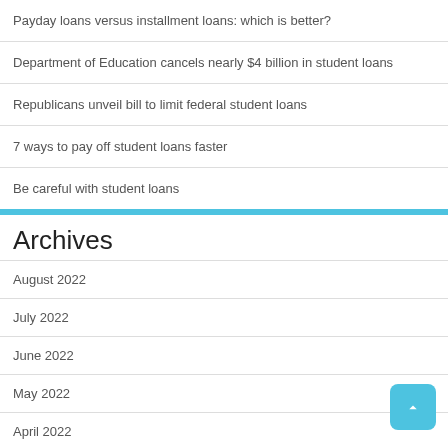Payday loans versus installment loans: which is better?
Department of Education cancels nearly $4 billion in student loans
Republicans unveil bill to limit federal student loans
7 ways to pay off student loans faster
Be careful with student loans
Archives
August 2022
July 2022
June 2022
May 2022
April 2022
March 2022